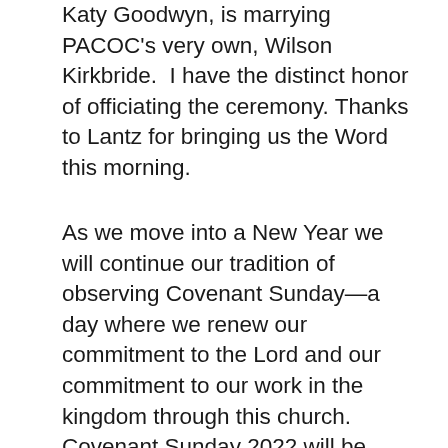Katy Goodwyn, is marrying PACOC's very own, Wilson Kirkbride.  I have the distinct honor of officiating the ceremony. Thanks to Lantz for bringing us the Word this morning.
As we move into a New Year we will continue our tradition of observing Covenant Sunday—a day where we renew our commitment to the Lord and our commitment to our work in the kingdom through this church. Covenant Sunday 2022 will be January 23. Our theme is SERVE from Mark 10:45 where Jesus says, “For even the Son of Man did not come to be served, but to serve, and to give his life as a ransom for many.”
The leadership of PACOC continues to encourage every member to fully engage in their walk with the Lord. Our desire is for each of you to be closer to the Lord and enjoy the abundant life that Jesus promises